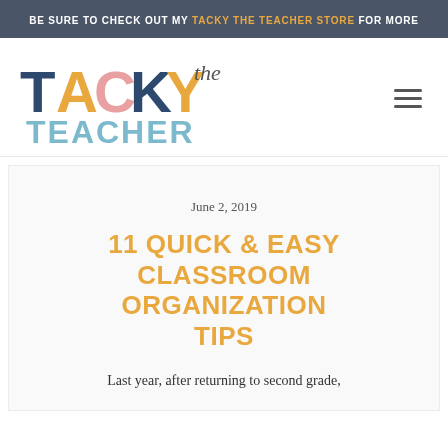BE SURE TO CHECK OUT MY TACKY THE TEACHER STORE FOR MORE
[Figure (logo): Tacky the Teacher logo with colorful block letters spelling TACKY in blue, orange, pink, and yellow, with 'the' in cursive script, and TEACHER in light blue block letters below]
June 2, 2019
11 QUICK & EASY CLASSROOM ORGANIZATION TIPS
Last year, after returning to second grade,